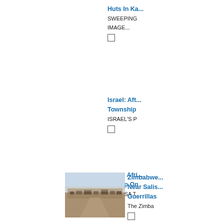Huts In Ka...
SWEEPING
IMAGE...
Israel: Aft... Township
ISRAEL'S P
South Afri... Swoop On
TEMBISA T
[Figure (photo): Photograph of Zimbabwe near Salisbury area showing a wide landscape view of structures and terrain]
Zimbabwe... Near Salis... Guerrillas
The Zimba